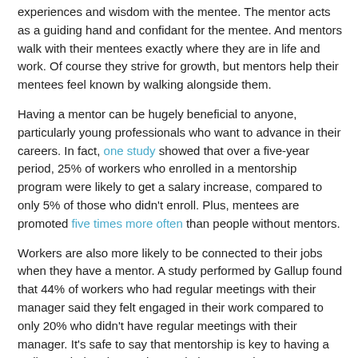experiences and wisdom with the mentee. The mentor acts as a guiding hand and confidant for the mentee. And mentors walk with their mentees exactly where they are in life and work. Of course they strive for growth, but mentors help their mentees feel known by walking alongside them.
Having a mentor can be hugely beneficial to anyone, particularly young professionals who want to advance in their careers. In fact, one study showed that over a five-year period, 25% of workers who enrolled in a mentorship program were likely to get a salary increase, compared to only 5% of those who didn't enroll. Plus, mentees are promoted five times more often than people without mentors.
Workers are also more likely to be connected to their jobs when they have a mentor. A study performed by Gallup found that 44% of workers who had regular meetings with their manager said they felt engaged in their work compared to only 20% who didn't have regular meetings with their manager. It's safe to say that mentorship is key to having a well-rounded and engaging workplace experience.
Leaders as Coaches